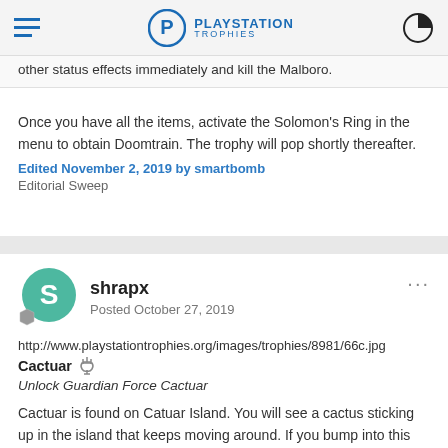PLAYSTATION TROPHIES
other status effects immediately and kill the Malboro.
Once you have all the items, activate the Solomon's Ring in the menu to obtain Doomtrain. The trophy will pop shortly thereafter.
Edited November 2, 2019 by smartbomb
Editorial Sweep
shrapx
Posted October 27, 2019
http://www.playstationtrophies.org/images/trophies/8981/66c.jpg
Cactuar
Unlock Guardian Force Cactuar
Cactuar is found on Catuar Island. You will see a cactus sticking up in the island that keeps moving around. If you bump into this cactus, you will initiate battle against the Jumbo Cactaur. This